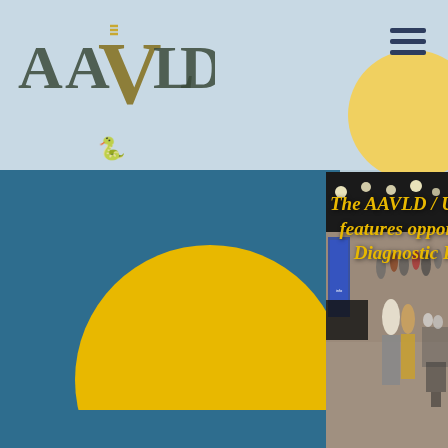[Figure (logo): AAVLD logo with stylized letters and veterinary snake symbol]
[Figure (photo): Conference hall photo showing attendees mingling and seated at tables, with exhibition banners in background, overlaid with yellow italic text reading 'The AAVLD / USAHA A... features opportunities... Diagnostic Profes...']
The AAVLD / USAHA A features opportunities Diagnostic Profes